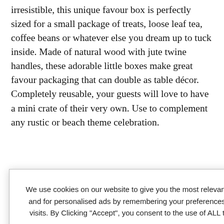irresistible, this unique favour box is perfectly sized for a small package of treats, loose leaf tea, coffee beans or whatever else you dream up to tuck inside. Made of natural wood with jute twine handles, these adorable little boxes make great favour packaging that can double as table décor. Completely reusable, your guests will love to have a mini crate of their very own. Use to complement any rustic or beach theme celebration.
of 4
e grid dividers), paulownia
D SHOPPED FOR
[Figure (screenshot): Cookie consent popup overlay with text: 'We use cookies on our website to give you the most relevant experience and for personalised ads by remembering your preferences and repeat visits. By Clicking "Accept", you consent to the use of ALL the cookies.' with a salmon/coral 'YES, I ACCEPT' button and a 'More Info' link.]
e a message